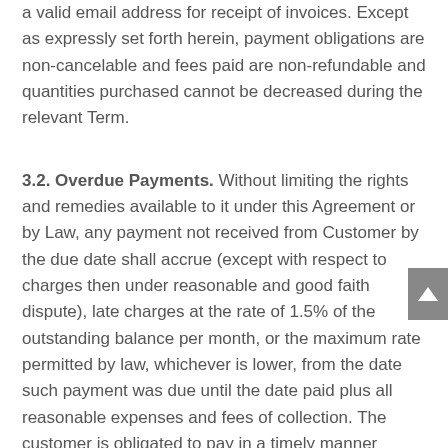a valid email address for receipt of invoices. Except as expressly set forth herein, payment obligations are non-cancelable and fees paid are non-refundable and quantities purchased cannot be decreased during the relevant Term.
3.2. Overdue Payments. Without limiting the rights and remedies available to it under this Agreement or by Law, any payment not received from Customer by the due date shall accrue (except with respect to charges then under reasonable and good faith dispute), late charges at the rate of 1.5% of the outstanding balance per month, or the maximum rate permitted by law, whichever is lower, from the date such payment was due until the date paid plus all reasonable expenses and fees of collection. The customer is obligated to pay in a timely manner